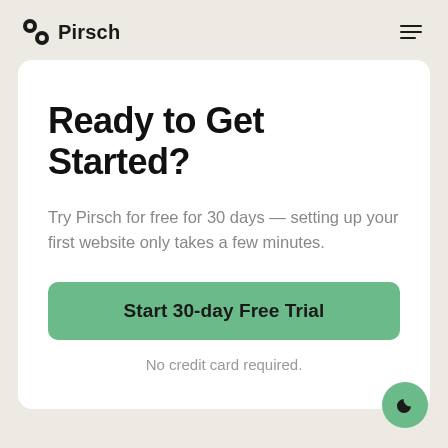Pirsch
Ready to Get Started?
Try Pirsch for free for 30 days — setting up your first website only takes a few minutes.
Start 30-day Free Trial
No credit card required.